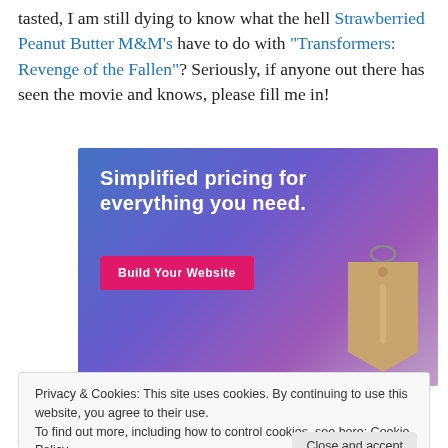tasted, I am still dying to know what the hell Strawberried Peanut Butter M&M's have to do with "Transformers: Revenge of the Fallen"? Seriously, if anyone out there has seen the movie and knows, please fill me in!
[Figure (illustration): Advertisement banner with blue-purple gradient background, text 'Simplified pricing for everything you need.', a pink 'Build Your Website' button, and a tan price tag graphic on the right.]
Privacy & Cookies: This site uses cookies. By continuing to use this website, you agree to their use. To find out more, including how to control cookies, see here: Cookie Policy
And in the meantime, I say skip the new-fangled m&m's